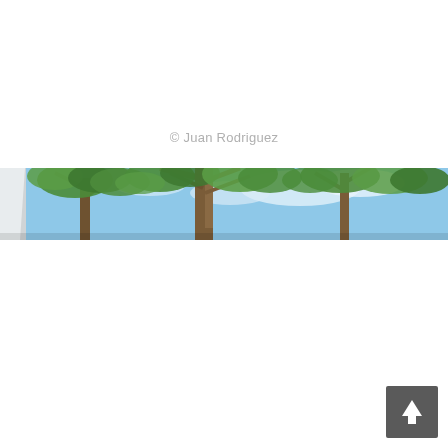© Juan Rodriguez
[Figure (photo): A wide panoramic strip photograph taken looking upward through tree canopy showing green leafy trees against a blue sky with white clouds, and a partial view of a white building structure on the left side.]
[Figure (illustration): A dark gray square button with an upward-pointing white arrow icon, positioned in the bottom-right corner of the page.]